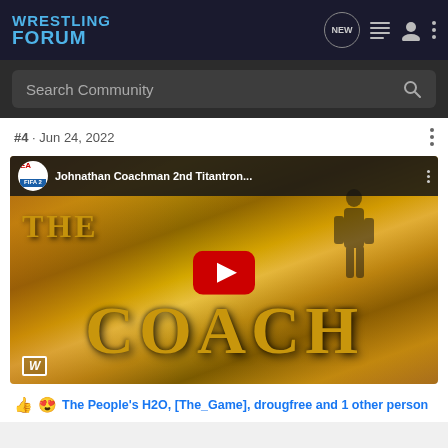WRESTLING FORUM
Search Community
#4 · Jun 24, 2022
[Figure (screenshot): YouTube video thumbnail for 'Johnathan Coachman 2nd Titantron...' showing golden 'THE COACH' text with a silhouette figure, YouTube play button overlay, EA FIFA logo in top-left, WWE logo in bottom-left]
The People's H2O, [The_Game], drougfree and 1 other person